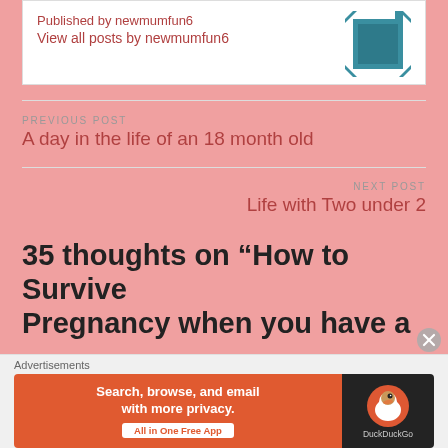View all posts by newmumfun6
PREVIOUS POST
A day in the life of an 18 month old
NEXT POST
Life with Two under 2
35 thoughts on “How to Survive Pregnancy when you have a
Advertisements
[Figure (screenshot): DuckDuckGo advertisement banner: orange left side with text 'Search, browse, and email with more privacy. All in One Free App' and dark right side with DuckDuckGo logo]